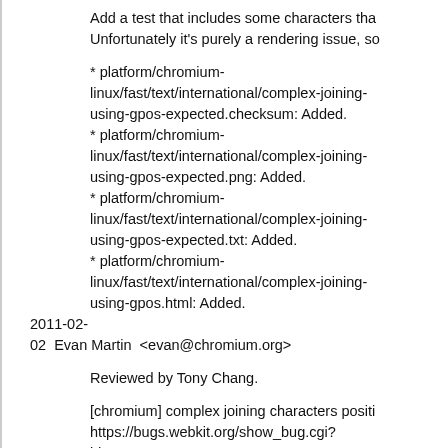Add a test that includes some characters that... Unfortunately it's purely a rendering issue, so...
* platform/chromium-linux/fast/text/international/complex-joining-using-gpos-expected.checksum: Added.
* platform/chromium-linux/fast/text/international/complex-joining-using-gpos-expected.png: Added.
* platform/chromium-linux/fast/text/international/complex-joining-using-gpos-expected.txt: Added.
* platform/chromium-linux/fast/text/international/complex-joining-using-gpos.html: Added.
2011-02-02  Evan Martin  <evan@chromium.org>
Reviewed by Tony Chang.
[chromium] complex joining characters positi... https://bugs.webkit.org/show_bug.cgi?id=53637
Provide the correct font metrics to Harfbuzz n... There are used in some fonts for GPOS posi...
Test: platform/chromium-linux/fast/text/international/complex-joining-